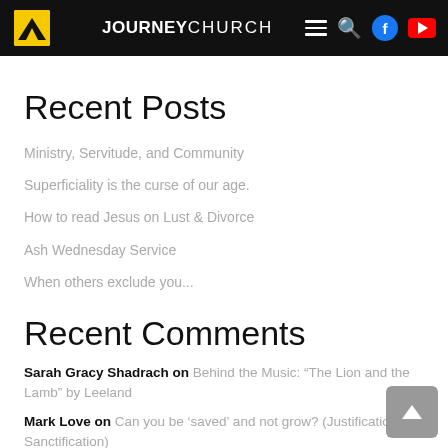JOURNEY CHURCH
Recent Posts
Ministry, Servitude, and Community
Superficiality is the curse of our age.
How to read Jesus on Lust & Divorce
Ash Wednesday Service
When others exclude you...
Recent Comments
Sarah Gracy Shadrach on Behind the Music: “The Lion and the Lamb” by Leeland
Mark Love on Can you be ‘saved’ and not grow? (Justification vs Sanctification)